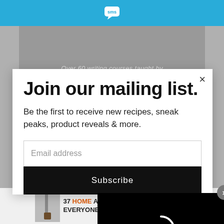[Figure (screenshot): Top blue navigation bar with SMS logo (speech bubble icon)]
[Figure (screenshot): Background gray advertisement area with text 'Over 60 writing courses taught by']
Join our mailing list.
Be the first to receive new recipes, sneak peaks, product reveals & more.
Email address
Subscribe
[Figure (screenshot): Black video overlay panel with white loading spinner and CLOSE button bar]
[Figure (screenshot): Bottom banner ad: 37 HOME AND KITCHEN ITEMS EVERYONE SHOULD OWN with 22 Words badge]